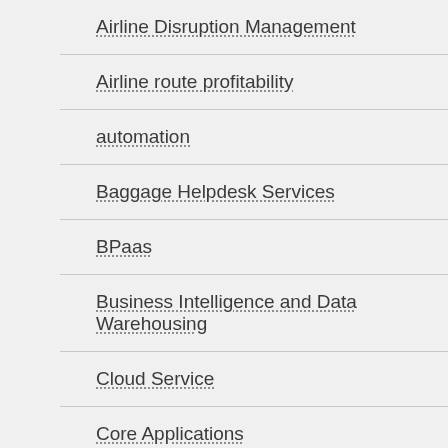Airline Disruption Management
Airline route profitability
automation
Baggage Helpdesk Services
BPaas
Business Intelligence and Data Warehousing
Cloud Service
Core Applications
Crew Management
Cruise liners
Cruise solutions